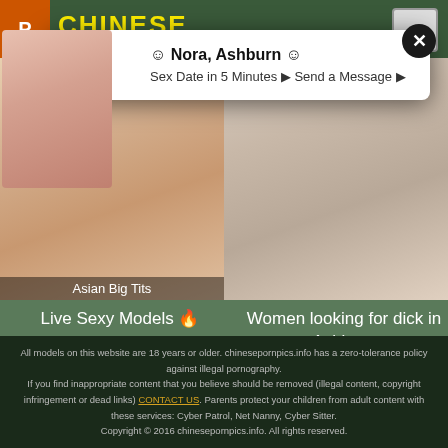CHINESE
[Figure (screenshot): Popup overlay with close button showing profile image and text: Nora, Ashburn - Sex Date in 5 Minutes - Send a Message]
☺ Nora, Ashburn ☺
Sex Date in 5 Minutes ▶ Send a Message ▶
[Figure (photo): Thumbnail image left - Asian Big Tits category]
[Figure (photo): Thumbnail image right - woman in white top]
Live Sexy Models 🔥
Women looking for dick in Ashburn
All models on this website are 18 years or older. chinesepornpics.info has a zero-tolerance policy against illegal pornography.
If you find inappropriate content that you believe should be removed (illegal content, copyright infringement or dead links) CONTACT US. Parents protect your children from adult content with these services: Cyber Patrol, Net Nanny, Cyber Sitter.
Copyright © 2016 chinesepornpics.info. All rights reserved.